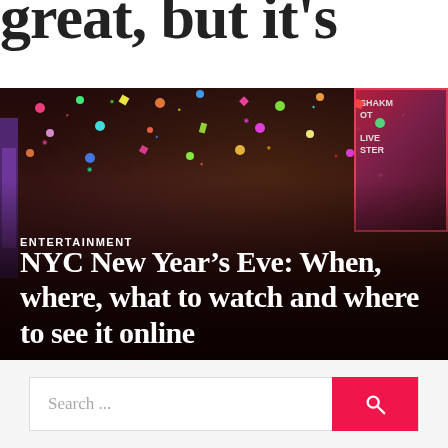great, but it's
[Figure (photo): Times Square New Year's Eve celebration photo showing crowds with confetti falling, people looking up at the ball drop, with city lights and billboards in the background. Text overlay shows ENTERTAINMENT category label and article title.]
ENTERTAINMENT
NYC New Year's Eve: When, where, what to watch and where to see it online
Search ...